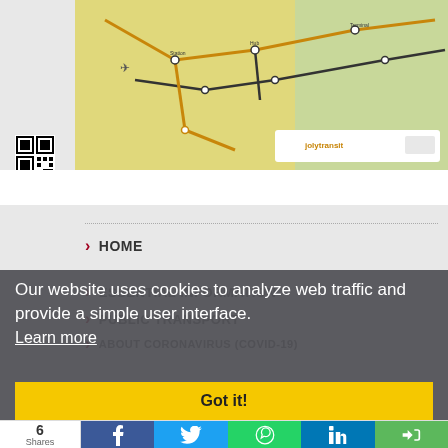[Figure (map): Transit/metro map showing rail lines on a geographic background with yellow and green regions, station names, and a QR code in the lower left corner]
HOME
ESSENTIAL INFORMATION
PUBLIC TRANSPORT
ABOUT CORONAVIRUS (COVID-19)
Our website uses cookies to analyze web traffic and provide a simple user interface.
Learn more
Got it!
6
Shares